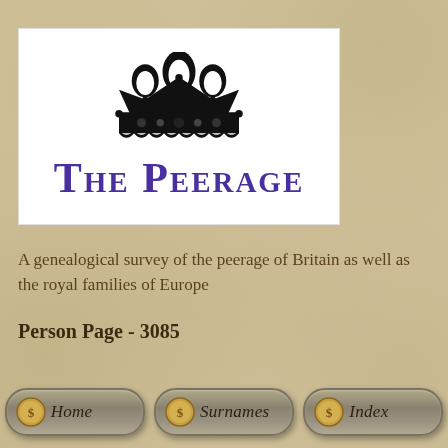[Figure (logo): The Peerage logo: a black royal crown above the text 'THE PEERAGE' in large purple small-caps font on a white background]
A genealogical survey of the peerage of Britain as well as the royal families of Europe
Person Page - 3085
[Figure (other): Navigation buttons: Home, Surnames, Index — each styled as a rounded grey pill button with a small gold coin icon on the left]